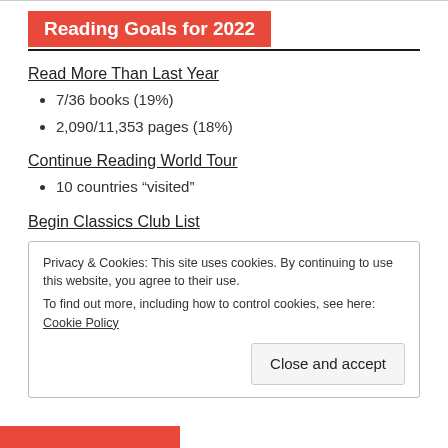Reading Goals for 2022
Read More Than Last Year
7/36 books (19%)
2,090/11,353 pages (18%)
Continue Reading World Tour
10 countries “visited”
Begin Classics Club List
Privacy & Cookies: This site uses cookies. By continuing to use this website, you agree to their use.
To find out more, including how to control cookies, see here: Cookie Policy
Close and accept